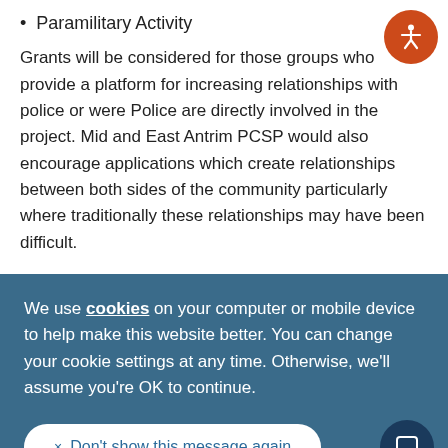Paramilitary Activity
Grants will be considered for those groups who provide a platform for increasing relationships with police or were Police are directly involved in the project. Mid and East Antrim PCSP would also encourage applications which create relationships between both sides of the community particularly where traditionally these relationships may have been difficult.
We use cookies on your computer or mobile device to help make this website better. You can change your cookie settings at any time. Otherwise, we'll assume you're OK to continue.
× Don't show this message again